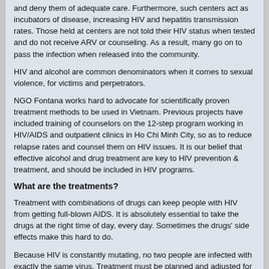and deny them of adequate care. Furthermore, such centers act as incubators of disease, increasing HIV and hepatitis transmission rates. Those held at centers are not told their HIV status when tested and do not receive ARV or counseling. As a result, many go on to pass the infection when released into the community.
HIV and alcohol are common denominators when it comes to sexual violence, for victims and perpetrators.
NGO Fontana works hard to advocate for scientifically proven treatment methods to be used in Vietnam. Previous projects have included training of counselors on the 12-step program working in HIV/AIDS and outpatient clinics in Ho Chi Minh City, so as to reduce relapse rates and counsel them on HIV issues. It is our belief that effective alcohol and drug treatment are key to HIV prevention & treatment, and should be included in HIV programs.
What are the treatments?
Treatment with combinations of drugs can keep people with HIV from getting full-blown AIDS. It is absolutely essential to take the drugs at the right time of day, every day. Sometimes the drugs' side effects make this hard to do.
Because HIV is constantly mutating, no two people are infected with exactly the same virus. Treatment must be planned and adjusted for each individual.
Most doctors recommend postponing treatment until a persons' immune system starts to fail. This decision is based on the CD-4T cell count the best measure of HIV disease. Another factor is how much